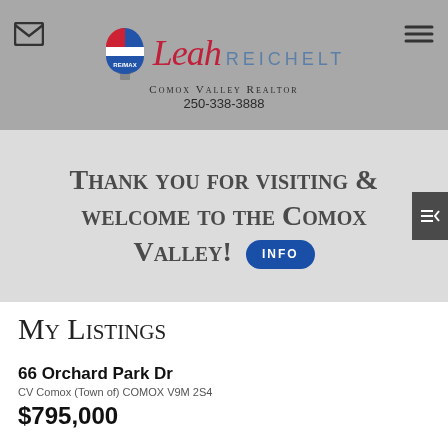[Figure (logo): RE/MAX Leah Reichelt Comox Valley Realtor logo with hot air balloon and stylized text]
Comox Valley Realtor
250-338-3888
Thank you for visiting & welcome to the Comox Valley!
My Listings
66 Orchard Park Dr
CV Comox (Town of) COMOX V9M 2S4
$795,000